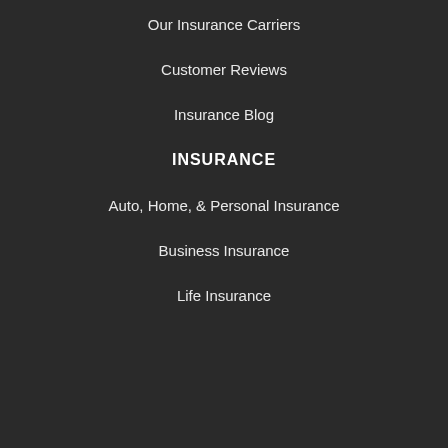Our Insurance Carriers
Customer Reviews
Insurance Blog
INSURANCE
Auto, Home, & Personal Insurance
Business Insurance
Life Insurance